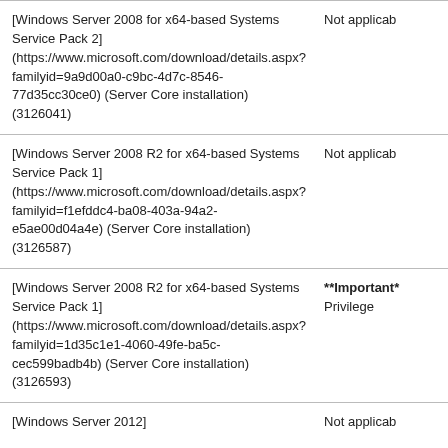| [Windows Server 2008 for x64-based Systems Service Pack 2] (https://www.microsoft.com/download/details.aspx?familyid=9a9d00a0-c9bc-4d7c-8546-77d35cc30ce0) (Server Core installation) (3126041) | Not applicab |
| [Windows Server 2008 R2 for x64-based Systems Service Pack 1] (https://www.microsoft.com/download/details.aspx?familyid=f1efddc4-ba08-403a-94a2-e5ae00d04a4e) (Server Core installation) (3126587) | Not applicab |
| [Windows Server 2008 R2 for x64-based Systems Service Pack 1] (https://www.microsoft.com/download/details.aspx?familyid=1d35c1e1-4060-49fe-ba5c-cec599badb4b) (Server Core installation) (3126593) | **Important* Privilege |
| [Windows Server 2012] | Not applicab |